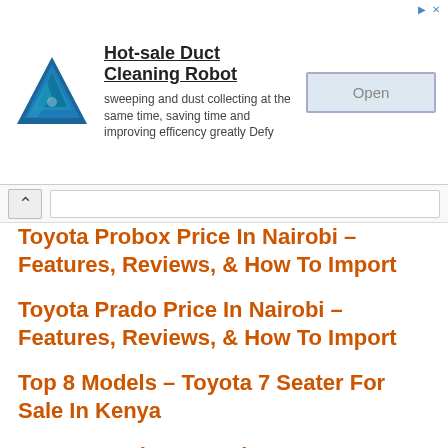[Figure (other): Advertisement banner for Hot-sale Duct Cleaning Robot with triangular blue logo, open button]
Toyota Probox Price In Nairobi – Features, Reviews, & How To Import
Toyota Prado Price In Nairobi – Features, Reviews, & How To Import
Top 8 Models – Toyota 7 Seater For Sale In Kenya
Toyota Harrier For Sale In Kenya – Features, Reviews, & How To Import
Probox Price In Karicho – Features, Reviews, &